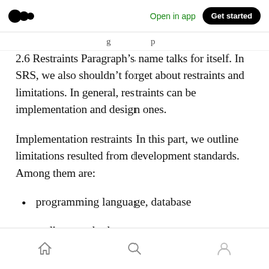Open in app | Get started
2.6 Restraints Paragraph’s name talks for itself. In SRS, we also shouldn’t forget about restraints and limitations. In general, restraints can be implementation and design ones.
Implementation restraints In this part, we outline limitations resulted from development standards. Among them are:
programming language, database
coding standards
Home | Search | Profile